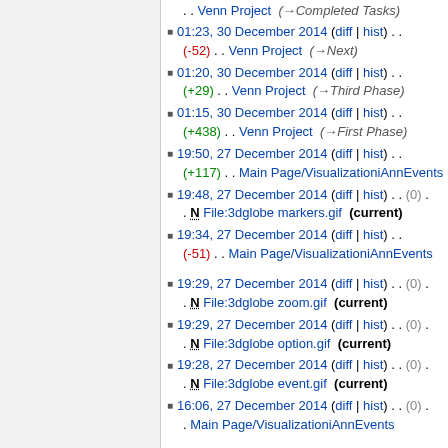. . Venn Project  (→Completed Tasks)
01:23, 30 December 2014 (diff | hist) . . (-52) . . Venn Project  (→Next)
01:20, 30 December 2014 (diff | hist) . . (+29) . . Venn Project  (→Third Phase)
01:15, 30 December 2014 (diff | hist) . . (+438) . . Venn Project  (→First Phase)
19:50, 27 December 2014 (diff | hist) . . (+117) . . Main Page/VisualizationiAnnEvents
19:48, 27 December 2014 (diff | hist) . . (0) . . N File:3dglobe markers.gif (current)
19:34, 27 December 2014 (diff | hist) . . (-51) . . Main Page/VisualizationiAnnEvents
19:29, 27 December 2014 (diff | hist) . . (0) . . N File:3dglobe zoom.gif (current)
19:29, 27 December 2014 (diff | hist) . . (0) . . N File:3dglobe option.gif (current)
19:28, 27 December 2014 (diff | hist) . . (0) . . N File:3dglobe event.gif (current)
16:06, 27 December 2014 (diff | hist) . . (0) . . Main Page/VisualizationiAnnEvents